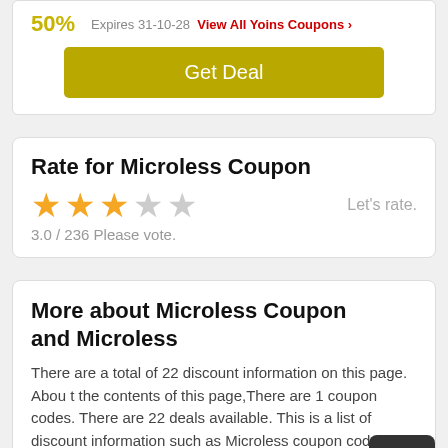50%   Expires 31-10-28   View All Yoins Coupons >
Get Deal
Rate for Microless Coupon
[Figure (other): 3 filled stars and 2 empty stars rating widget]
Let's rate.
3.0 / 236 Please vote.
More about Microless Coupon and Microless
There are a total of 22 discount information on this page. About the contents of this page,There are 1 coupon codes. There are 22 deals available. This is a list of discount information such as Microless coupon code, Microless promo code, Microless disco unt code and Microless sales campaigns.You can use them to bu